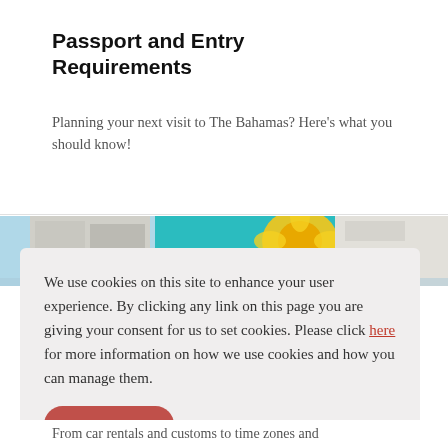Passport and Entry Requirements
Planning your next visit to The Bahamas? Here’s what you should know!
VIEW DETAILS
[Figure (photo): Colourful street mural or building facade with bright teal and yellow colours, partially visible]
We use cookies on this site to enhance your user experience. By clicking any link on this page you are giving your consent for us to set cookies. Please click here for more information on how we use cookies and how you can manage them.
I AGREE
From car rentals and customs to time zones and